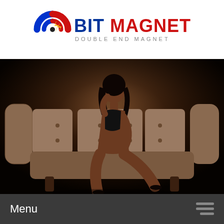[Figure (logo): Bit Magnet logo with circular magnet icon in red and blue, lightning bolts, text BIT MAGNET in blue and red, subtitle DOUBLE END MAGNET in grey]
[Figure (photo): Woman in black lingerie seated on a beige velvet sofa in a dark studio setting]
Menu